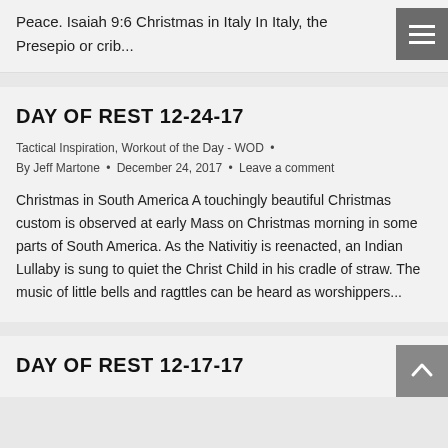Peace. Isaiah 9:6 Christmas in Italy In Italy, the Presepio or crib...
DAY OF REST 12-24-17
Tactical Inspiration, Workout of the Day - WOD • By Jeff Martone • December 24, 2017 • Leave a comment
Christmas in South America A touchingly beautiful Christmas custom is observed at early Mass on Christmas morning in some parts of South America. As the Nativitiy is reenacted, an Indian Lullaby is sung to quiet the Christ Child in his cradle of straw. The music of little bells and ragttles can be heard as worshippers...
DAY OF REST 12-17-17